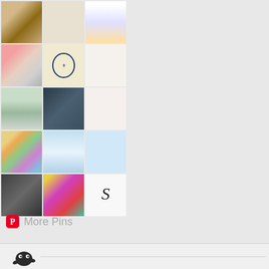[Figure (screenshot): Pinterest grid of 15 image thumbnails arranged in a 3-column, 5-row grid on a light gray background, showing various design/craft/photo content]
More Pins
[Figure (logo): Small dark blob creature icon in the footer bar]